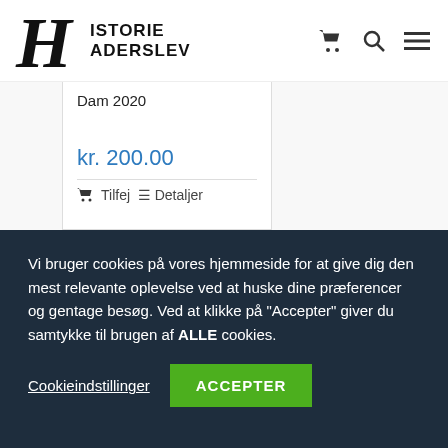[Figure (logo): HistorieHaderslev logo with Gothic H letter and site name]
Dam 2020
kr. 200.00
Tilfej  Detaljer
Vi bruger cookies på vores hjemmeside for at give dig den mest relevante oplevelse ved at huske dine præferencer og gentage besøg. Ved at klikke på "Accepter" giver du samtykke til brugen af ALLE cookies.
Cookieindstillinger
ACCEPTER